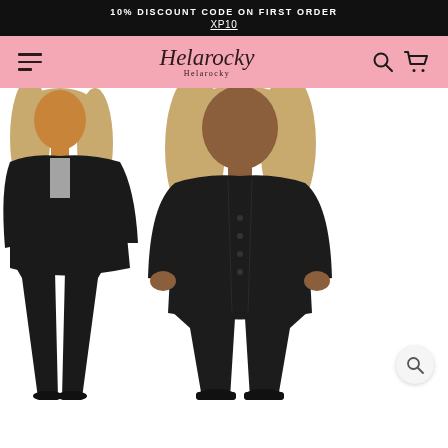10% DISCOUNT CODE ON FIRST ORDER
XP10
[Figure (screenshot): Helarocky fashion brand navigation bar with hamburger menu, script logo, search and cart icons on pink background]
[Figure (photo): Two female models wearing matching black long-sleeve cardigan and leggings sets on white background. Left model shows side view, right model shows front view.]